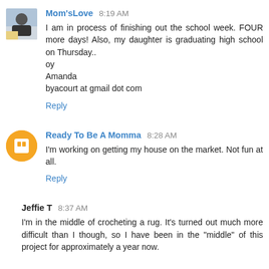Mom'sLove 8:19 AM
I am in process of finishing out the school week. FOUR more days! Also, my daughter is graduating high school on Thursday..
oy
Amanda
byacourt at gmail dot com
Reply
Ready To Be A Momma 8:28 AM
I'm working on getting my house on the market. Not fun at all.
Reply
Jeffie T 8:37 AM
I'm in the middle of crocheting a rug. It's turned out much more difficult than I though, so I have been in the "middle" of this project for approximately a year now.